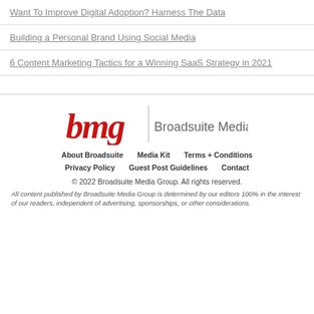Want To Improve Digital Adoption? Harness The Data
Building a Personal Brand Using Social Media
6 Content Marketing Tactics for a Winning SaaS Strategy in 2021
[Figure (logo): BMG Broadsuite Media Group logo with red stylized 'bmg' text and vertical divider followed by 'Broadsuite Media Group' text]
About Broadsuite   Media Kit   Terms + Conditions
Privacy Policy   Guest Post Guidelines   Contact
© 2022 Broadsuite Media Group. All rights reserved.
All content published by Broadsuite Media Group is determined by our editors 100% in the interest of our readers, independent of advertising, sponsorships, or other considerations.